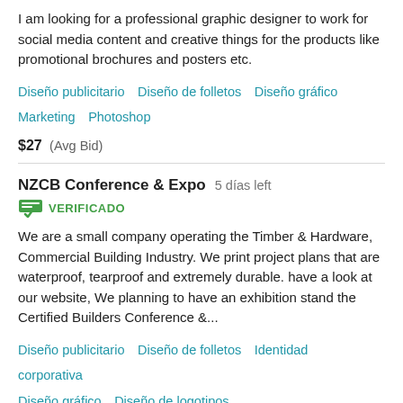I am looking for a professional graphic designer to work for social media content and creative things for the products like promotional brochures and posters etc.
Diseño publicitario   Diseño de folletos   Diseño gráfico   Marketing   Photoshop
$27  (Avg Bid)
NZCB Conference & Expo  5 días left
VERIFICADO
We are a small company operating the Timber & Hardware, Commercial Building Industry. We print project plans that are waterproof, tearproof and extremely durable. have a look at our website, We planning to have an exhibition stand the Certified Builders Conference &...
Diseño publicitario   Diseño de folletos   Identidad corporativa   Diseño gráfico   Diseño de logotipos